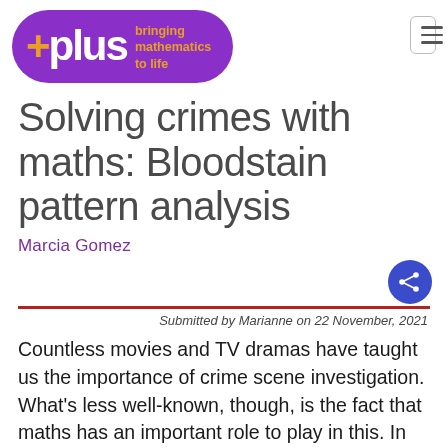[Figure (logo): Plus magazine logo: purple pill-shaped background with white bold text 'plus' preceded by an orange plus-cross symbol, and orange tagline 'bringing mathematics to life']
Solving crimes with maths: Bloodstain pattern analysis
Marcia Gomez
Submitted by Marianne on 22 November, 2021
Countless movies and TV dramas have taught us the importance of crime scene investigation. What's less well-known, though, is the fact that maths has an important role to play in this. In this article we'll explore how basic trigonometry is used in this context.